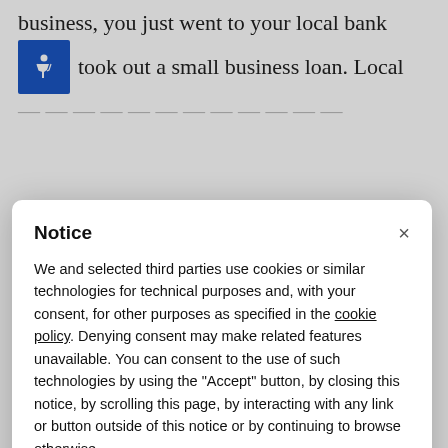business, you just went to your local bank and took out a small business loan. Local
Notice
We and selected third parties use cookies or similar technologies for technical purposes and, with your consent, for other purposes as specified in the cookie policy. Denying consent may make related features unavailable. You can consent to the use of such technologies by using the "Accept" button, by closing this notice, by scrolling this page, by interacting with any link or button outside of this notice or by continuing to browse otherwise.
Accept
Learn more and customize